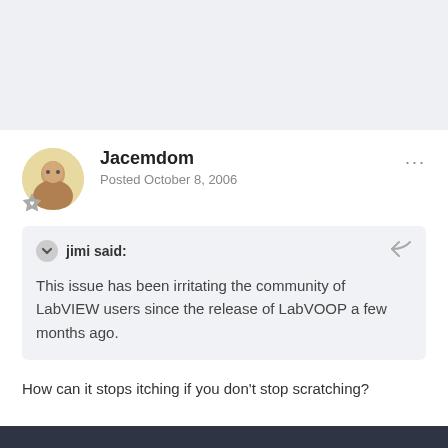Jacemdom
Posted October 8, 2006
jimi said:
This issue has been irritating the community of LabVIEW users since the release of LabVOOP a few months ago.
How can it stops itching if you don't stop scratching?
Important Information
By using this site, you agree to our Terms of Use.
✓ I accept